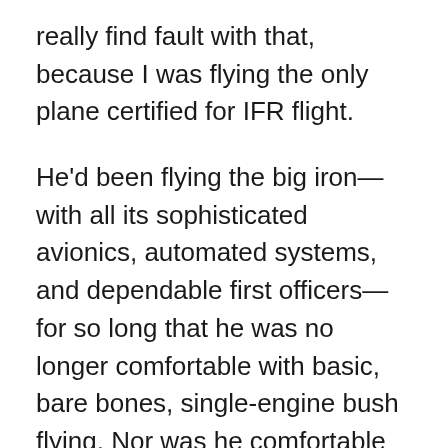really find fault with that, because I was flying the only plane certified for IFR flight.

He'd been flying the big iron—with all its sophisticated avionics, automated systems, and dependable first officers—for so long that he was no longer comfortable with basic, bare bones, single-engine bush flying. Nor was he comfortable with the serious challenge of don't-make-any-mistakes contact flying in an almost whiteout snowstorm. Still, this was all pretty much everyday Alaska outback flying to Archie and me. Bad weather is the rule rather than the exception in Alaska. There was an ATP...